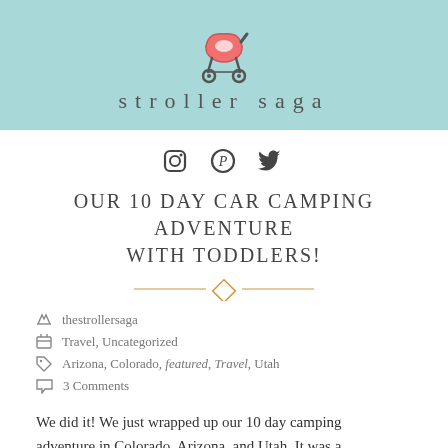[Figure (logo): Stroller Saga blog header with teal/mint background, featuring a cartoon stroller icon and the text 'stroller saga' in spaced gray letters]
[Figure (infographic): Social media icons row: Instagram camera icon, Pinterest P icon, Twitter bird icon]
OUR 10 DAY CAR CAMPING ADVENTURE WITH TODDLERS!
thestrollersaga
Travel, Uncategorized
Arizona, Colorado, featured, Travel, Utah
3 Comments
We did it! We just wrapped up our 10 day camping adventure in Colorado, Arizona, and Utah. It was a